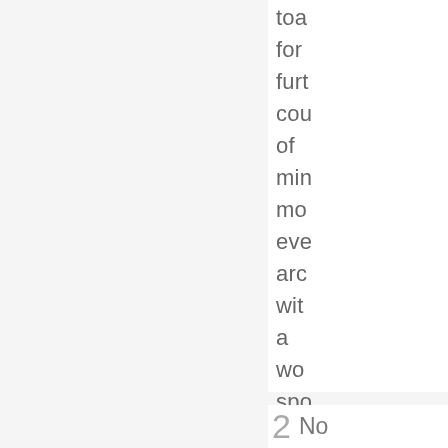toa
for
furt
cou
of
min
mo
eve
arc
wit
a
wo
spo
set
asi
to
coo
2 No